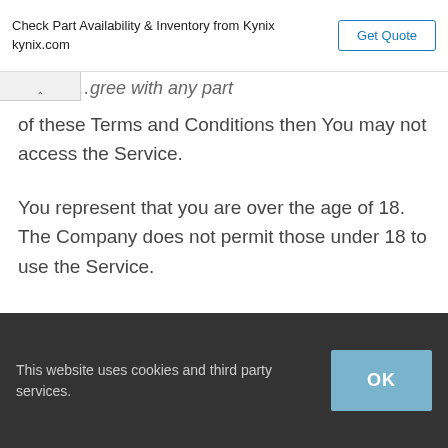Check Part Availability & Inventory from Kynix kynix.com | Get Quote
...gree with any part
of these Terms and Conditions then You may not access the Service.
You represent that you are over the age of 18. The Company does not permit those under 18 to use the Service.
Your access to and use of the Service is also conditioned on Your acceptance of and compliance with the Privacy
This website uses cookies and third party services. OK